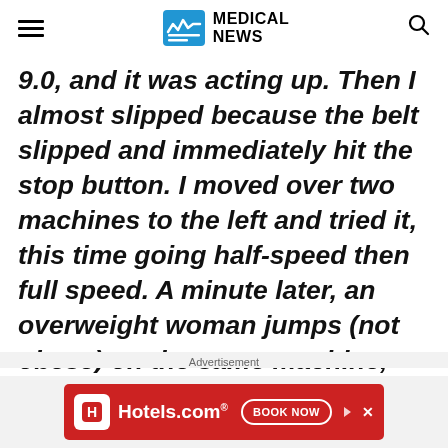MEDICAL NEWS
9.0, and it was acting up. Then I almost slipped because the belt slipped and immediately hit the stop button. I moved over two machines to the left and tried it, this time going half-speed then full speed. A minute later, an overweight woman jumps (not obese) on the same machine, and she started a brisk walk for at least 5 minutes," someone how...
Advertisement
[Figure (screenshot): Hotels.com advertisement banner with red background, hotel icon, Hotels.com logo, and BOOK NOW button]